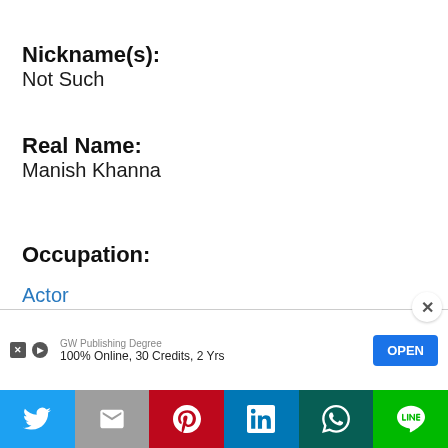Nickname(s):
Not Such
Real Name:
Manish Khanna
Occupation:
Actor
[Figure (screenshot): Advertisement banner: GW Publishing Degree, 100% Online, 30 Credits, 2 Yrs with an OPEN button]
[Figure (infographic): Social sharing bar with Twitter, Gmail, Pinterest, LinkedIn, WhatsApp, and LINE buttons]